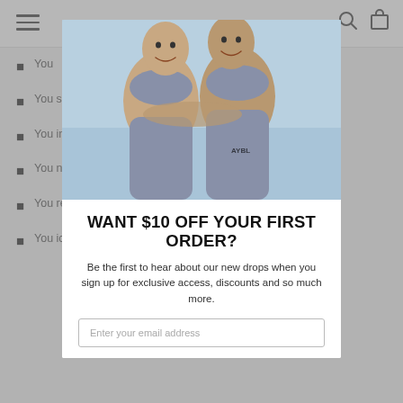Navigation header with hamburger menu, search icon, and cart icon
You... ed adv... s, chain lett... itation.
You... s, filthy, viol... e obj...
You... inti...
You... n (in the... d to pro... of peo...
You... reg...
You... icity righ...
[Figure (photo): Two women in grey/blue athletic wear (sports bras and leggings) hugging and smiling against a blue sky background. One legging has 'AYBL' text visible.]
WANT $10 OFF YOUR FIRST ORDER?
Be the first to hear about our new drops when you sign up for exclusive access, discounts and so much more.
Enter your email address